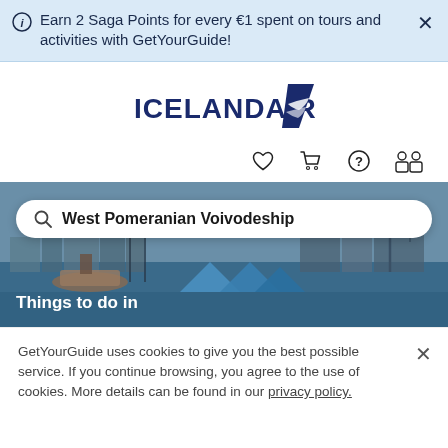Earn 2 Saga Points for every €1 spent on tours and activities with GetYourGuide!
[Figure (logo): Icelandair logo with airline tail fin icon in dark navy blue]
[Figure (infographic): Navigation icons: heart/wishlist, shopping cart, help/question mark circle, account/profile]
[Figure (photo): Aerial photo of a harbour with boats and port infrastructure, with search bar overlay showing 'West Pomeranian Voivodeship' and 'Things to do in' label at bottom left]
GetYourGuide uses cookies to give you the best possible service. If you continue browsing, you agree to the use of cookies. More details can be found in our privacy policy.